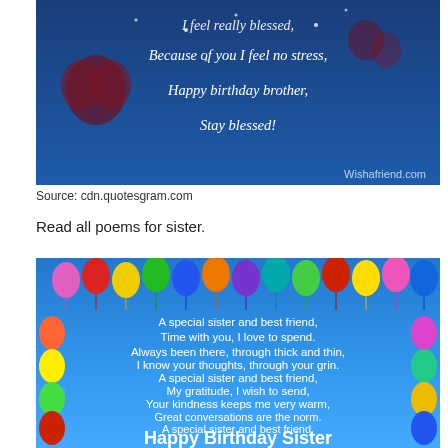[Figure (illustration): Birthday card image with dark blue background showing balloons and hearts, with cursive white text: 'Because of you I feel no stress, Happy birthday brother, Stay blessed!' and 'Wishafriend.com' watermark]
Source: cdn.quotesgram.com
Read all poems for sister.
[Figure (illustration): Birthday card with blue sky background, colorful balloons border on top, left and right sides, white text poem: 'A special sister and best friend, Time with you, I love to spend. Always been there, through thick and thin, I know your thoughts, through your grin. A special sister and best friend, My gratitude, I wish to send, Your kindness keeps me very warm, Great conversations are the norm. A special sister and best friend, Your dreams and thoughts, I shall defend. We are more than just a team, I\'m your coffee, you\'re my cream. Happy Birthday Sister']